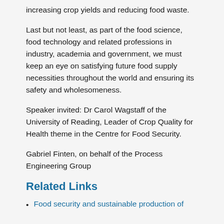increasing crop yields and reducing food waste.
Last but not least, as part of the food science, food technology and related professions in industry, academia and government, we must keep an eye on satisfying future food supply necessities throughout the world and ensuring its safety and wholesomeness.
Speaker invited: Dr Carol Wagstaff of the University of Reading, Leader of Crop Quality for Health theme in the Centre for Food Security.
Gabriel Finten, on behalf of the Process Engineering Group
Related Links
Food security and sustainable production of